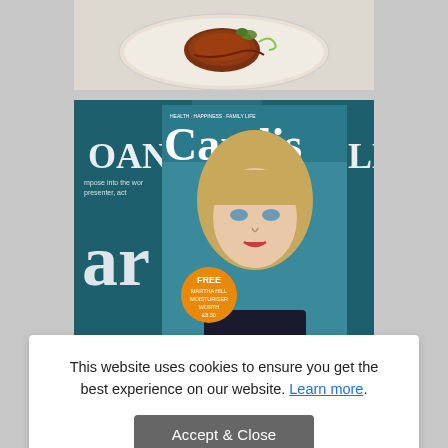[Figure (photo): Food photo showing a plate with glazed meat/chicken and garnishes on a light background]
[Figure (photo): Candis magazine cover featuring Joanna Lumley. Teal background with large 'Candis' logo. Text reads 'JOANNA LUMLEY - A glimpse into the world of the globetrotting presenter, actor and activist'. Orange circle badge reads 'FREE MARTHA HILL MOISTURISER WORTH £8.50'. Multiple copies of the cover are visible side by side.]
This website uses cookies to ensure you get the best experience on our website. Learn more.
Accept & Close